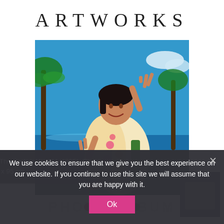ARTWORKS
[Figure (illustration): Painting of a young woman in a floral dress making peace signs with both hands, standing by a tropical beach with palm trees and blue water. Pop art style. Artwork by Zhang Bin.]
Zhang Bin, The Perfect World I (1995), Oil on Canvas, 85 x 95 cm
We use cookies to ensure that we give you the best experience on our website. If you continue to use this site we will assume that you are happy with it.
Ok
PHOTO ALBUM